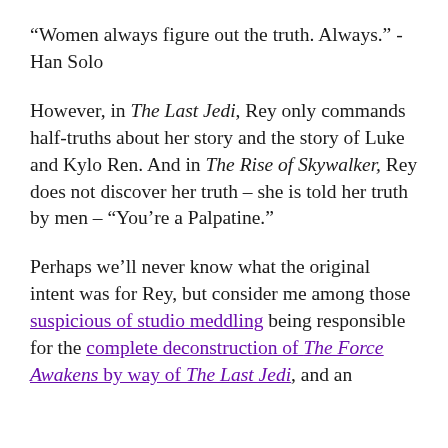“Women always figure out the truth. Always.” - Han Solo
However, in The Last Jedi, Rey only commands half-truths about her story and the story of Luke and Kylo Ren. And in The Rise of Skywalker, Rey does not discover her truth – she is told her truth by men – “You’re a Palpatine.”
Perhaps we’ll never know what the original intent was for Rey, but consider me among those suspicious of studio meddling being responsible for the complete deconstruction of The Force Awakens by way of The Last Jedi, and an